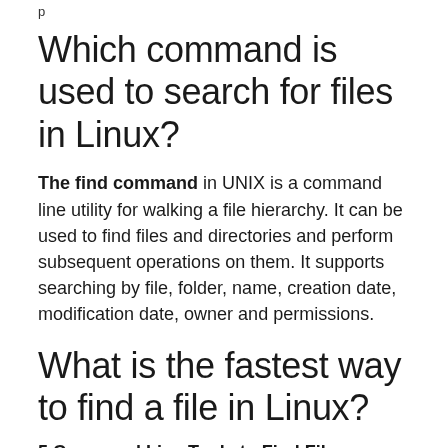p
Which command is used to search for files in Linux?
The find command in UNIX is a command line utility for walking a file hierarchy. It can be used to find files and directories and perform subsequent operations on them. It supports searching by file, folder, name, creation date, modification date, owner and permissions.
What is the fastest way to find a file in Linux?
5 Command Line Tools to Find Files Quickly in Linux